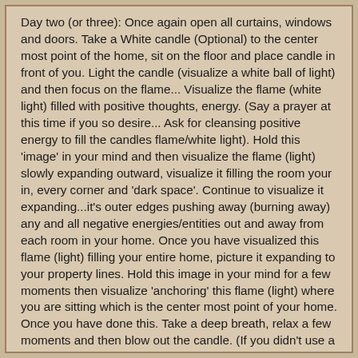Day two (or three): Once again open all curtains, windows and doors. Take a White candle (Optional) to the center most point of the home, sit on the floor and place candle in front of you. Light the candle (visualize a white ball of light) and then focus on the flame... Visualize the flame (white light) filled with positive thoughts, energy. (Say a prayer at this time if you so desire... Ask for cleansing positive energy to fill the candles flame/white light). Hold this 'image' in your mind and then visualize the flame (light) slowly expanding outward, visualize it filling the room your in, every corner and 'dark space'. Continue to visualize it expanding...it's outer edges pushing away (burning away) any and all negative energies/entities out and away from each room in your home. Once you have visualized this flame (light) filling your entire home, picture it expanding to your property lines. Hold this image in your mind for a few moments then visualize 'anchoring' this flame (light) where you are sitting which is the center most point of your home. Once you have done this. Take a deep breath, relax a few moments and then blow out the candle. (If you didn't use a candle just let yourself relax a moment or two.) "
Now you can create a shield for yourself using the 'home shield' technique but instead of focusing on your home visualize the